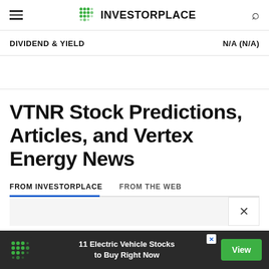INVESTORPLACE
DIVIDEND & YIELD	N/A (N/A)
VTNR Stock Predictions, Articles, and Vertex Energy News
FROM INVESTORPLACE	FROM THE WEB
11 Electric Vehicle Stocks to Buy Right Now